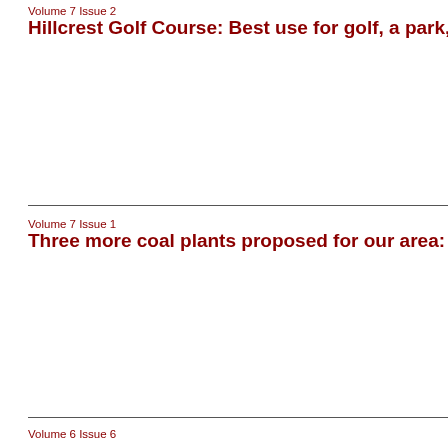Volume 7 Issue 2
Hillcrest Golf Course: Best use for golf, a park, or a sub...
Volume 7 Issue 1
Three more coal plants proposed for our area: Examinin...
Volume 6 Issue 6